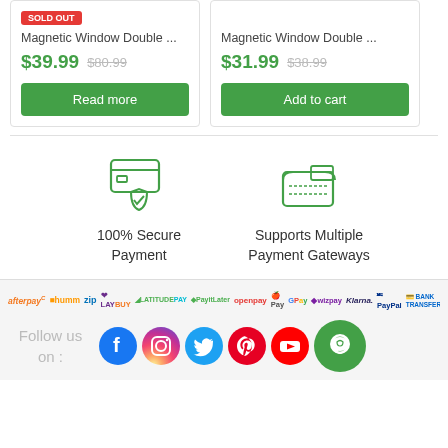Magnetic Window Double ... $39.99 $80.99
Magnetic Window Double ... $31.99 $38.99
100% Secure Payment
Supports Multiple Payment Gateways
[Figure (infographic): Payment method logos: afterpaye, humm, zip, laybuy, latitudepay, paytlater, openpay, APay, GPay, wizpay, Klarna, PayPal, Bank Transfer]
Follow us on :
[Figure (infographic): Social media icons: Facebook, Instagram, Twitter, Pinterest, YouTube, Chat bubble]